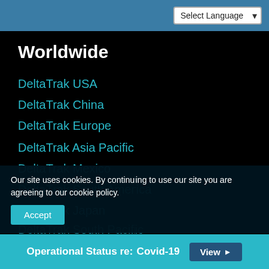Select Language
Worldwide
DeltaTrak USA
DeltaTrak China
DeltaTrak Europe
DeltaTrak Asia Pacific
DeltaTrak Mexico
DeltaTrak South America
DeltaTrak Japan
DeltaTrak South Pacific
Our site uses cookies. By continuing to use our site you are agreeing to our cookie policy.
Accept
Operational Status re: Covid-19  View ▶